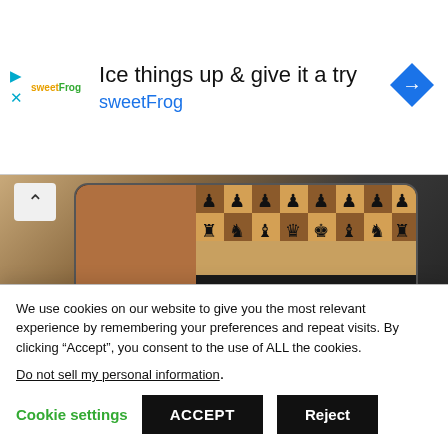[Figure (screenshot): Advertisement banner for sweetFrog with text 'Ice things up & give it a try' and 'sweetFrog' in blue, with sweetFrog logo and a blue diamond navigation icon.]
[Figure (photo): A hand holding a smartphone displaying a chess app with chess pieces on a board. A chevron/up arrow button is visible at the top left of the image.]
Do you want to hone your brain in a fun way? Chess apps offer an engaging game to refine your skills
We use cookies on our website to give you the most relevant experience by remembering your preferences and repeat visits. By clicking “Accept”, you consent to the use of ALL the cookies.
Do not sell my personal information.
Cookie settings   ACCEPT   Reject